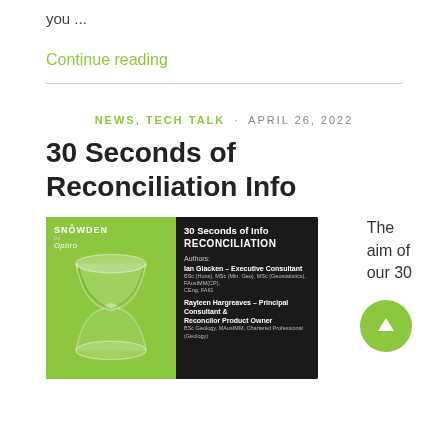you ...
Continue reading
NEWS, TECH TALK · APRIL 26, 2022
30 Seconds of Reconciliation Info
[Figure (illustration): Thumbnail image for '30 Seconds of Info: RECONCILIATION' by Snowden Optiro, showing a dark panel with title and author details beside a green hourglass image.]
The aim of our 30